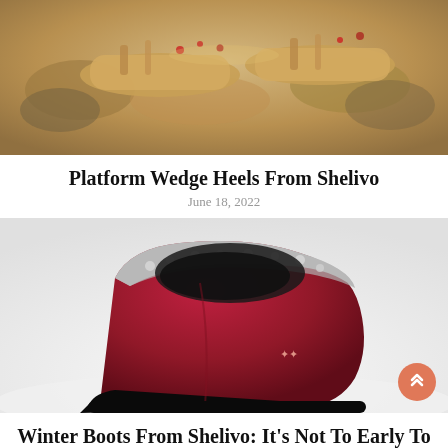[Figure (photo): Photo of platform wedge heel sandals, tan/beige colored, on a decorative background with jewelry]
Platform Wedge Heels From Shelivo
June 18, 2022
[Figure (photo): Photo of a dark red/burgundy winter boot with gray fur lining, on a white snowy background]
Winter Boots From Shelivo: It's Not To Early To